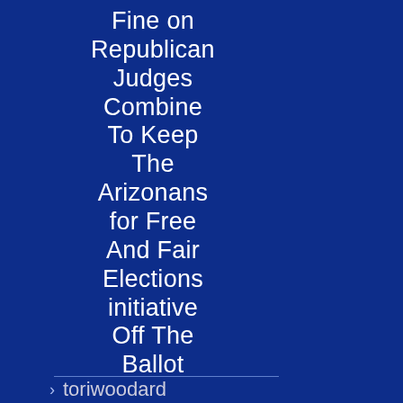Fine on Republican Judges Combine To Keep The Arizonans for Free And Fair Elections initiative Off The Ballot
> toriwoodard on